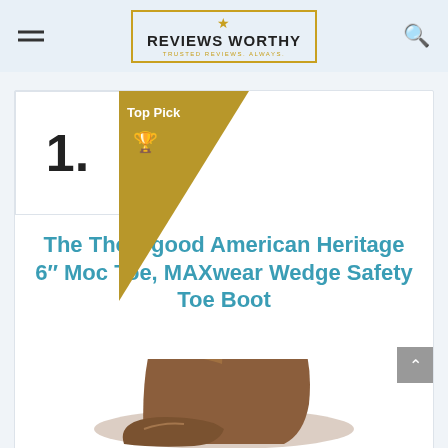Reviews Worthy — Trusted Reviews. Always.
[Figure (logo): Reviews Worthy logo with gold star, bold text 'REVIEWS WORTHY', and gold underline border, centered in header]
1.
[Figure (infographic): Gold triangular 'Top Pick' banner with trophy icon in upper-left of product card]
The Thorogood American Heritage 6" Moc Toe, MAXwear Wedge Safety Toe Boot
[Figure (photo): Close-up photo of a brown leather Thorogood work boot with gold laces, shown from the ankle up against a light background]